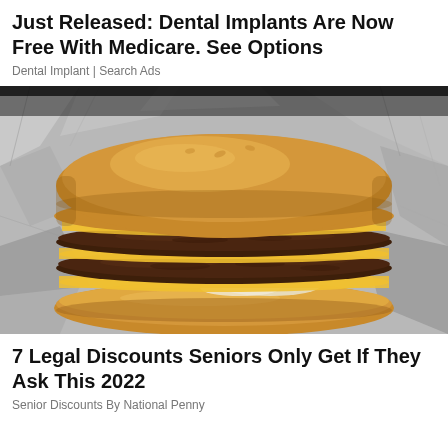Just Released: Dental Implants Are Now Free With Medicare. See Options
Dental Implant | Search Ads
[Figure (photo): Close-up photo of a double cheeseburger with melted yellow cheese on a bun, wrapped in aluminum foil, on a dark background.]
7 Legal Discounts Seniors Only Get If They Ask This 2022
Senior Discounts By National Penny